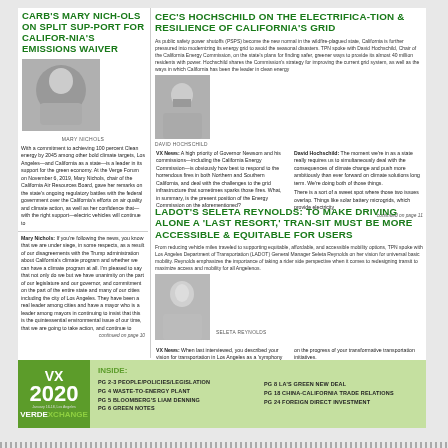CARB'S MARY NICHOLS ON SPLIT SUPPORT FOR CALIFORNIA'S EMISSIONS WAIVER
[Figure (photo): Photo of Mary Nichols]
With a commitment to achieving 100 percent Clean energy by 2045 among other bold climate targets, Los Angeles—and California as a state—is a leader in its support for the green economy. At the Verge Forum on November 6, 2019, Mary Nichols, chair of the California Air Resources Board, gave her remarks on the state's ongoing regulatory battles with the federal government over the California's efforts on air quality and climate action, as well as her confidence that—with the right support—electric vehicles will continue to
Mary Nichols: If you're following the news, you know that we are under siege, in some respects, as a result of our disagreements with the Trump administration about California's climate program and whether we can have a climate program at all. I'm pleased to say that not only do we but we have unanimity on the part of our legislature and our governor, and commitment on the part of the entire state and many of our cities including the city of Los Angeles. They have been a real leader among cities and have a mayor who is a leader among mayors in continuing to insist that this is the quintessential environmental issue of our time, that we are going to take action, and continue to
continued on page 10
CEC'S HOCHSCHILD ON THE ELECTRIFICATION & RESILIENCE OF CALIFORNIA'S GRID
As public safety power shutoffs (PSPS) become the new normal in the wildfire-plagued state, California is further pressured into modernizing its energy grid to avoid the seasonal disasters. TPN spoke with David Hochschild, Chair of the California Energy Commission, on the state's plans for finding safer, greener ways to provide its almost 40 million residents with power. Hochschild shares the Commission's strategy for improving the current grid system, as well as the ways in which California has been the leader in clean energy
[Figure (photo): Photo of David Hochschild]
DAVID HOCHSCHILD
VX News: A high priority of Governor Newsom and his commissions—including the California Energy Commission—is obviously how best to respond to the horrendous fires in both Northern and Southern California, and deal with the challenges to the grid infrastructure that sometimes sparks those fires. What, in summary, is the present position of the Energy Commission on the aforementioned?
David Hochschild: The moment we're in as a state really requires us to simultaneously deal with the consequences of climate change and push more ambitiously than ever forward on climate solutions long term. We're doing both of those things. There is a sort of a sweet spot where those two issues overlap. Things like solar battery microgrids, which provide electricity
continued on page 11
LADOT'S SELETA REYNOLDS: TO MAKE DRIVING ALONE A 'LAST RESORT,' TRANSIT MUST BE MORE ACCESSIBLE & EQUITABLE FOR USERS
From reducing vehicle miles traveled to supporting equitable, affordable, and accessible mobility options, TPN spoke with Los Angeles Department of Transportation (LADOT) General Manager Seleta Reynolds on her vision for universal basic mobility. Reynolds emphasizes the importance of taking a rider side perspective when it comes to redesigning transit to maximize access and mobility for all Angelenos.
[Figure (photo): Photo of Seleta Reynolds]
SELETA REYNOLDS
VX News: When last interviewed, you described your vision for transportation in Los Angeles as a 'symphony of transportation choices' which harmonize to make driving alone the transportation option of last resort. As LA City's DOT General Manager and conductor of this symphony, update us
on the progress of your transformative transportation initiatives.
Seleta Reynolds: Yesterday, I was at the CicLAVia Heart of LA event that was celebrating UCLA's centennial anniversary. The
continued on page 13
INSIDE:
pg 2-3  PEOPLE/POLICIES/LEGISLATION
pg 4  WASTE-TO-ENERGY PLANT
pg 5  BLOOMBERG'S LIAM DENNING
pg 6  GREEN NOTES
pg 8  LA'S GREEN NEW DEAL
pg 18  CHINA-CALIFORNIA TRADE RELATIONS
pg 24  FOREIGN DIRECT INVESTMENT